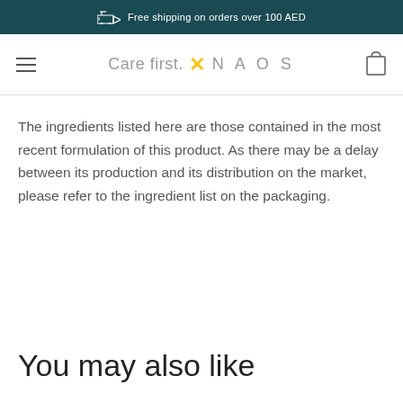Free shipping on orders over 100 AED
[Figure (logo): Care first. X NAOS logo with hamburger menu and cart icon]
The ingredients listed here are those contained in the most recent formulation of this product. As there may be a delay between its production and its distribution on the market, please refer to the ingredient list on the packaging.
You may also like